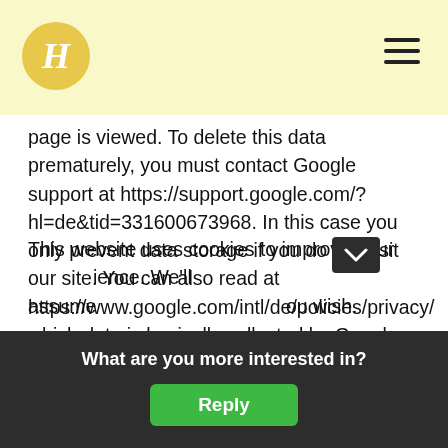H [logo] [hamburger menu]
page is viewed. To delete this data prematurely, you must contact Google support at https://support.google.com/?hl=de&tid=331600673968. In this case you only prevent data storage if you do not visit our site. You can also read at https://www.google.com/intl/de/policies/privacy/ which data is basically collected by Google and for what purpose this data is used. (Source: Created with the privacy generator of AdSimple in cooperation with bauenwir.de)
This website uses cookies to improve your experience. We'll assume
What are you more interested in?
Reply